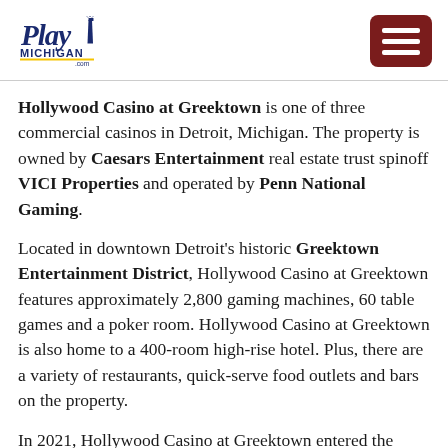PlayMichigan.com [logo] [hamburger menu]
Hollywood Casino at Greektown is one of three commercial casinos in Detroit, Michigan. The property is owned by Caesars Entertainment real estate trust spinoff VICI Properties and operated by Penn National Gaming.
Located in downtown Detroit's historic Greektown Entertainment District, Hollywood Casino at Greektown features approximately 2,800 gaming machines, 60 table games and a poker room. Hollywood Casino at Greektown is also home to a 400-room high-rise hotel. Plus, there are a variety of restaurants, quick-serve food outlets and bars on the property.
In 2021, Hollywood Casino at Greektown entered the Michigan online casino market, including poker, retail and mobile sports betting. A retail sportsbook opened in